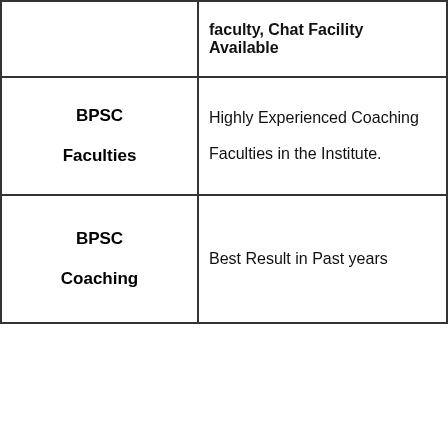|  | faculty, Chat Facility Available |
| --- | --- |
| BPSC Faculties | Highly Experienced Coaching Faculties in the Institute. |
| BPSC Coaching | Best Result in Past years |
[Figure (other): Email subscription popup with air mail style border. Contains 'Free Govt Job Guidance!!' title, email input field, Subscribe button, and 'powered by MailMunch' footer. Has a close (x) button.]